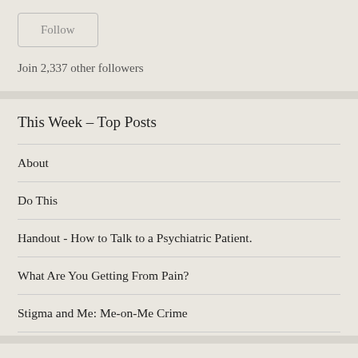Follow
Join 2,337 other followers
This Week – Top Posts
About
Do This
Handout - How to Talk to a Psychiatric Patient.
What Are You Getting From Pain?
Stigma and Me: Me-on-Me Crime
Favorites of All Time
1. Self-Care Works You Pushes You Tires You Out Until You Are Happily Spent On Your Friend You